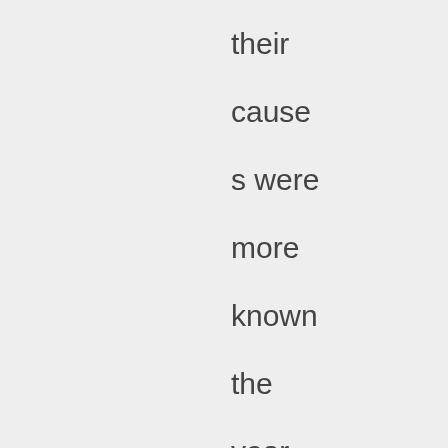their causes were more known the year Noynoy joined the fray. You can always say